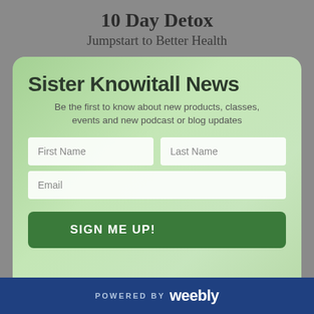10 Day Detox
Jumpstart to Better Health
[Figure (infographic): Newsletter sign-up card with green leafy background. Contains title 'Sister Knowitall News', description text, First Name, Last Name, and Email input fields, and a 'SIGN ME UP!' button.]
Sister Knowitall News
Be the first to know about new products, classes, events and new podcast or blog updates
POWERED BY weebly